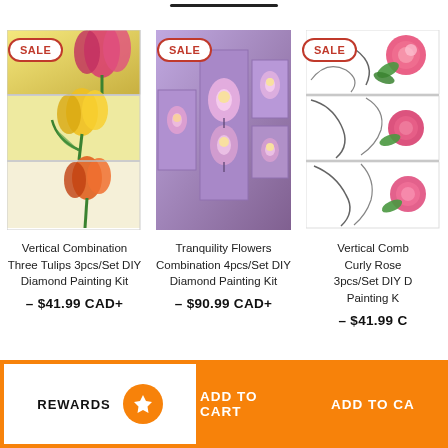[Figure (photo): Vertical combination three tulips painting set - 3 stacked panels with pink, yellow, and orange tulips]
Vertical Combination Three Tulips 3pcs/Set DIY Diamond Painting Kit
– $41.99 CAD+
[Figure (photo): Tranquility Flowers Combination 4pcs/Set - purple/violet orchid flowers on purple background in 4 panels]
Tranquility Flowers Combination 4pcs/Set DIY Diamond Painting Kit
– $90.99 CAD+
[Figure (photo): Vertical Combination Curly Rose 3pcs/Set - pink roses with black swirl design on white background, 3 stacked panels]
Vertical Comb Curly Rose 3pcs/Set DIY D Painting K
– $41.99 C
REWARDS
ADD TO CART
ADD TO CA